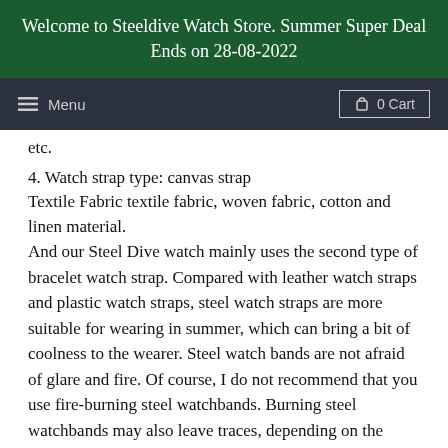Welcome to Steeldive Watch Store. Summer Super Deal Ends on 28-08-2022
Menu  0 Cart
etc.
4. Watch strap type: canvas strap
Textile Fabric textile fabric, woven fabric, cotton and linen material.
And our Steel Dive watch mainly uses the second type of bracelet watch strap. Compared with leather watch straps and plastic watch straps, steel watch straps are more suitable for wearing in summer, which can bring a bit of coolness to the wearer. Steel watch bands are not afraid of glare and fire. Of course, I do not recommend that you use fire-burning steel watchbands. Burning steel watchbands may also leave traces, depending on the